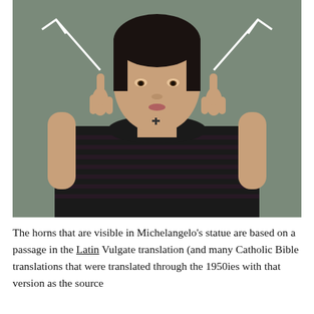[Figure (photo): A person with dark short hair wearing a black and dark striped top, holding both index fingers up near their temples, with two white outline arrows drawn over the image pointing diagonally upward-outward from each finger — suggesting 'horns'. The background is a muted grey-green.]
The horns that are visible in Michelangelo's statue are based on a passage in the Latin Vulgate translation (and many Catholic Bible translations that were translated through the 1950ies with that version as the source